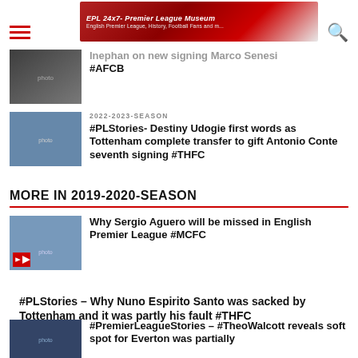EPL 24x7 - Premier League Museum | English Premier League History, Football Fans and more
#AFCB
2022-2023-SEASON
#PLStories- Destiny Udogie first words as Tottenham complete transfer to gift Antonio Conte seventh signing #THFC
MORE IN 2019-2020-SEASON
Why Sergio Aguero will be missed in English Premier League #MCFC
#PLStories – Why Nuno Espirito Santo was sacked by Tottenham and it was partly his fault #THFC
#PremierLeagueStories – #TheoWalcott reveals soft spot for Everton was partially